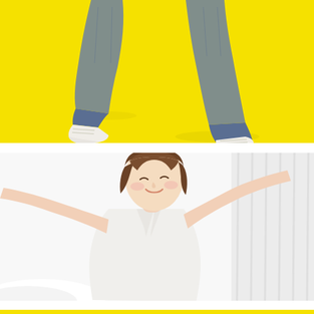[Figure (photo): Person wearing blue jeans and white sneakers, mid-stride or jumping, against a bright yellow background. Only the lower body (legs and feet) is visible.]
[Figure (photo): Young Asian woman with short brown hair wearing a white top, smiling and stretching with arms outstretched, against a bright white background with light curtains.]
[Figure (photo): Partial view of a third image at the bottom showing a yellow background, cropped.]